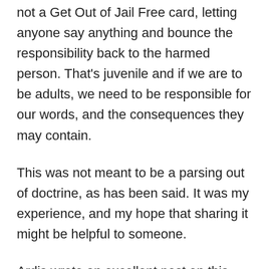not a Get Out of Jail Free card, letting anyone say anything and bounce the responsibility back to the harmed person. That's juvenile and if we are to be adults, we need to be responsible for our words, and the consequences they may contain.
This was not meant to be a parsing out of doctrine, as has been said. It was my experience, and my hope that sharing it might be helpful to someone.
Ardis wrote an excellent post on this subject a few months ago at Keepa, and it should be required reading in RS, imho.
Anonfornow makes another excellent point in pointing out misbehavior by children from